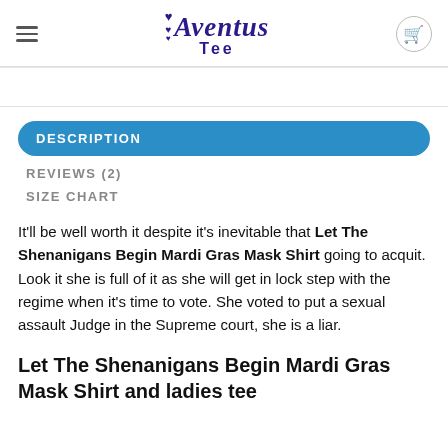Aventus Tee
DESCRIPTION
REVIEWS (2)
SIZE CHART
It'll be well worth it despite it's inevitable that Let The Shenanigans Begin Mardi Gras Mask Shirt going to acquit. Look it she is full of it as she will get in lock step with the regime when it's time to vote. She voted to put a sexual assault Judge in the Supreme court, she is a liar.
Let The Shenanigans Begin Mardi Gras Mask Shirt and ladies tee